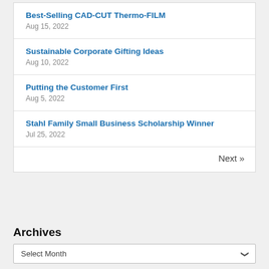Best-Selling CAD-CUT Thermo-FILM
Aug 15, 2022
Sustainable Corporate Gifting Ideas
Aug 10, 2022
Putting the Customer First
Aug 5, 2022
Stahl Family Small Business Scholarship Winner
Jul 25, 2022
Next »
Archives
Select Month